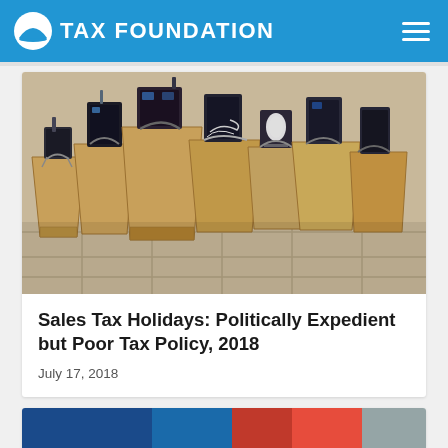TAX FOUNDATION
[Figure (photo): Multiple brown paper shopping bags filled with various merchandise items, arranged on a tiled floor surface, photographed from above at an angle.]
Sales Tax Holidays: Politically Expedient but Poor Tax Policy, 2018
July 17, 2018
[Figure (photo): Partial view of another article image showing colorful clothing or fabric items, cropped at bottom of page.]